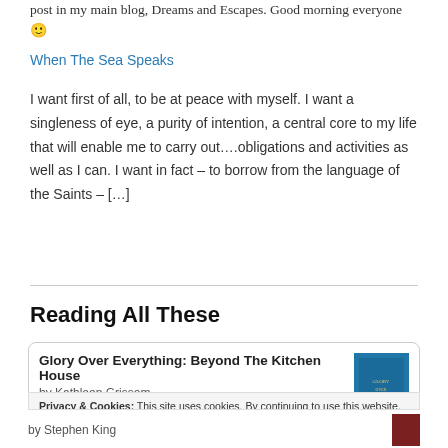post in my main blog, Dreams and Escapes. Good morning everyone 🙂
When The Sea Speaks
I want first of all, to be at peace with myself. I want a singleness of eye, a purity of intention, a central core to my life that will enable me to carry out….obligations and activities as well as I can. I want in fact – to borrow from the language of the Saints – […]
Reading All These
Glory Over Everything: Beyond The Kitchen House
by Kathleen Grissom
Privacy & Cookies: This site uses cookies. By continuing to use this website, you agree to their use.
To find out more, including how to control cookies, see here: Cookie Policy
by Stephen King